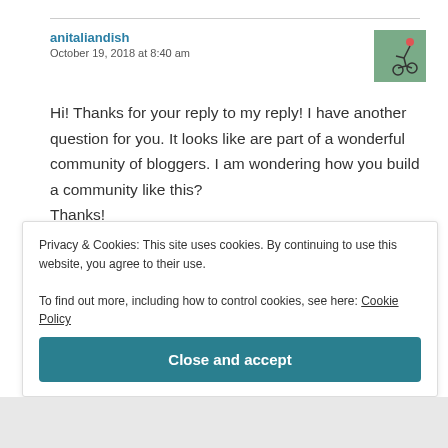anitaliandish
October 19, 2018 at 8:40 am
Hi! Thanks for your reply to my reply! I have another question for you. It looks like are part of a wonderful community of bloggers. I am wondering how you build a community like this?
Thanks!
Privacy & Cookies: This site uses cookies. By continuing to use this website, you agree to their use.
To find out more, including how to control cookies, see here: Cookie Policy
Close and accept